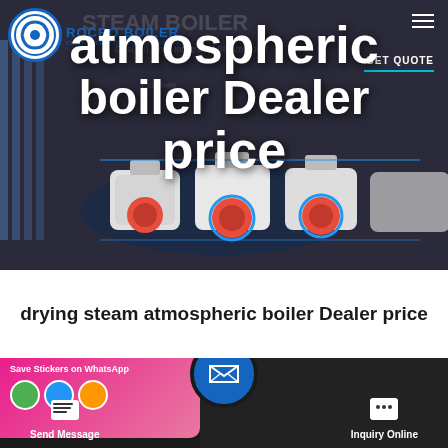[Figure (screenshot): Rocbo Boiler website hero section showing industrial atmospheric boilers with overlay title text 'atmospheric boiler Dealer price']
atmospheric boiler Dealer price
drying steam atmospheric boiler Dealer price
[Figure (screenshot): Bottom navigation bar with Send Message and Inquiry Online buttons, WhatsApp sticker card, and central email button]